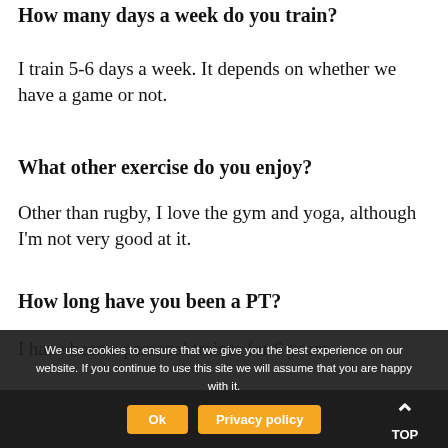How many days a week do you train?
I train 5-6 days a week. It depends on whether we have a game or not.
What other exercise do you enjoy?
Other than rugby, I love the gym and yoga, although I'm not very good at it.
How long have you been a PT?
I have been a personal trainer for 6 years.
We use cookies to ensure that we give you the best experience on our website. If you continue to use this site we will assume that you are happy with it.
TOP